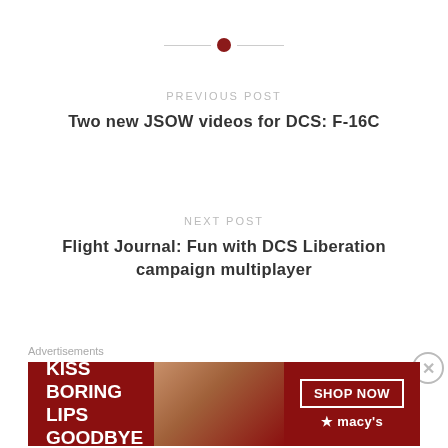[Figure (other): Horizontal divider with dark red circle in the center]
PREVIOUS POST
Two new JSOW videos for DCS: F-16C
NEXT POST
Flight Journal: Fun with DCS Liberation campaign multiplayer
Advertisements
[Figure (other): Macy's advertisement banner: KISS BORING LIPS GOODBYE — SHOP NOW — macy's star logo]